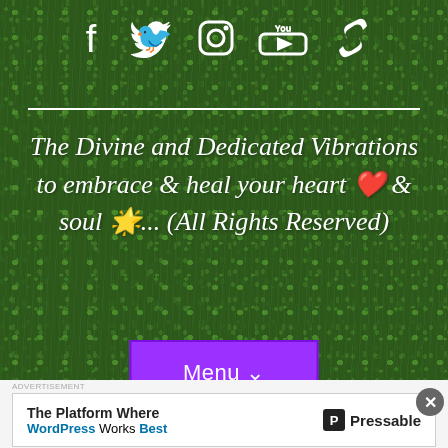[Figure (screenshot): Social media icons: Facebook, Twitter, Instagram, YouTube, and a chain/link icon, displayed in white on a grass background]
The Divine and Dedicated Vibrations to embrace & heal your heart ❤️ & soul 🌟... (All Rights Reserved)
[Figure (other): Purple 'Menu' button with dropdown arrow]
The Platform Where WordPress Works Best — Pressable advertisement banner